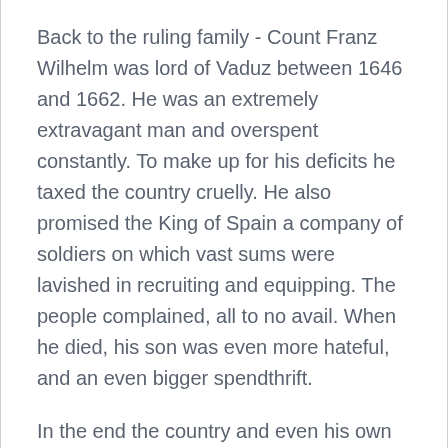Back to the ruling family - Count Franz Wilhelm was lord of Vaduz between 1646 and 1662. He was an extremely extravagant man and overspent constantly. To make up for his deficits he taxed the country cruelly. He also promised the King of Spain a company of soldiers on which vast sums were lavished in recruiting and equipping. The people complained, all to no avail. When he died, his son was even more hateful, and an even bigger spendthrift.
In the end the country and even his own relations complained to Emperor Leopold wrote to the Abbot of Kempten in modern Germany that the Counts estates should be sold to pay off his debts. Johann Adam (or Hans Adam I) von Liechtenstein bought Schellenberg in 1699 and Vaduz in 1712.